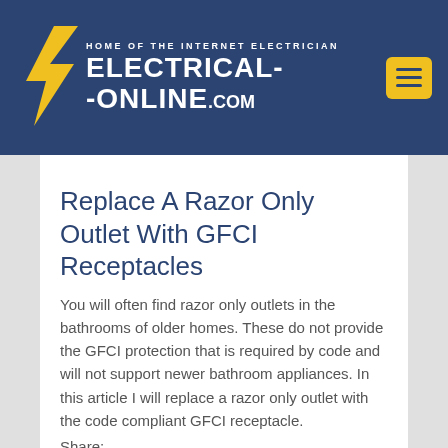[Figure (logo): Electrical-Online.com website header logo with yellow lightning bolt, white text on dark blue background, and yellow hamburger menu button]
Replace A Razor Only Outlet With GFCI Receptacles
You will often find razor only outlets in the bathrooms of older homes. These do not provide the GFCI protection that is required by code and will not support newer bathroom appliances. In this article I will replace a razor only outlet with the code compliant GFCI receptacle.
Share: